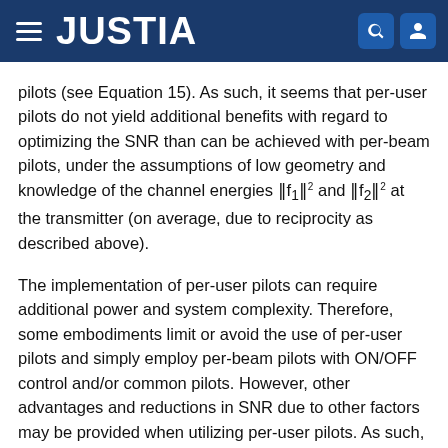JUSTIA
pilots (see Equation 15). As such, it seems that per-user pilots do not yield additional benefits with regard to optimizing the SNR than can be achieved with per-beam pilots, under the assumptions of low geometry and knowledge of the channel energies ‖f1‖² and ‖f2‖² at the transmitter (on average, due to reciprocity as described above).
The implementation of per-user pilots can require additional power and system complexity. Therefore, some embodiments limit or avoid the use of per-user pilots and simply employ per-beam pilots with ON/OFF control and/or common pilots. However, other advantages and reductions in SNR due to other factors may be provided when utilizing per-user pilots. As such, some embodiments do employ per-user pilots while applying weighting according to Rule 8 to better